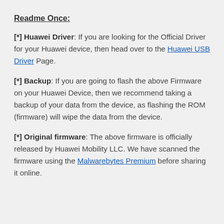Readme Once:
[*] Huawei Driver: If you are looking for the Official Driver for your Huawei device, then head over to the Huawei USB Driver Page.
[*] Backup: If you are going to flash the above Firmware on your Huawei Device, then we recommend taking a backup of your data from the device, as flashing the ROM (firmware) will wipe the data from the device.
[*] Original firmware: The above firmware is officially released by Huawei Mobility LLC. We have scanned the firmware using the Malwarebytes Premium before sharing it online.